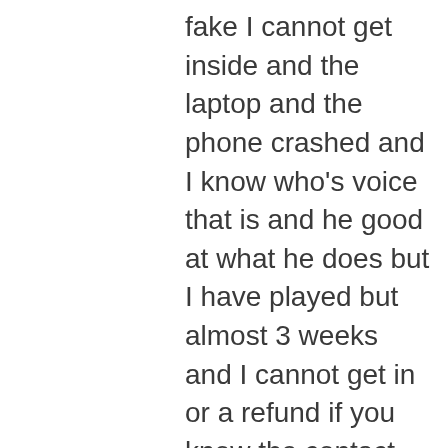fake I cannot get inside and the laptop and the phone crashed and I know who's voice that is and he good at what he does but I have played but almost 3 weeks and I cannot get in or a refund if you know the contact info would be great but you are probably busy thank you for your time on I am Jeremy new and learning but not techie just trying to get it right good luck thank you and there are a lot of scams but not everyone trying to get us a lot more people than we think want to help keep it up see you at the